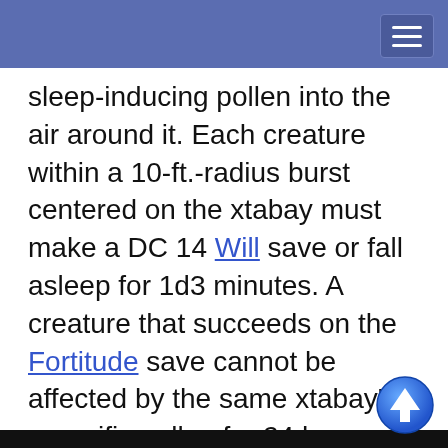sleep-inducing pollen into the air around it. Each creature within a 10-ft.-radius burst centered on the xtabay must make a DC 14 Will save or fall asleep for 1d3 minutes. A creature that succeeds on the Fortitude save cannot be affected by the same xtabay’s soporific pollen for 24 hours. A creature put to sleep by this
[Figure (screenshot): Cookie consent overlay popup with black background. Text reads: 'This website uses cookies to provide functionality, but which are not used to track your activity. By continuing to use this site, you agree to the use of these cookies. However, in addition to this, you may opt into your activity being tracked in order to help us improve our service. For more information, please click here'. Two buttons: OK and No, thank you.]
) or garden